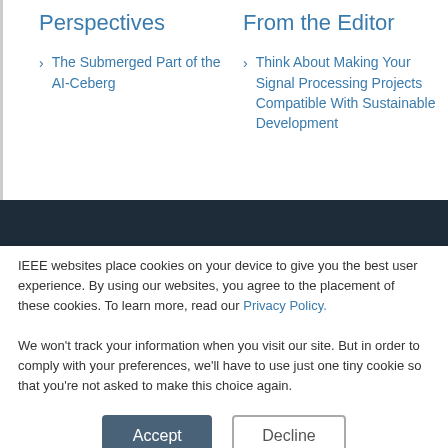Perspectives
The Submerged Part of the AI-Ceberg
From the Editor
Think About Making Your Signal Processing Projects Compatible With Sustainable Development
IEEE websites place cookies on your device to give you the best user experience. By using our websites, you agree to the placement of these cookies. To learn more, read our Privacy Policy.
We won't track your information when you visit our site. But in order to comply with your preferences, we'll have to use just one tiny cookie so that you're not asked to make this choice again.